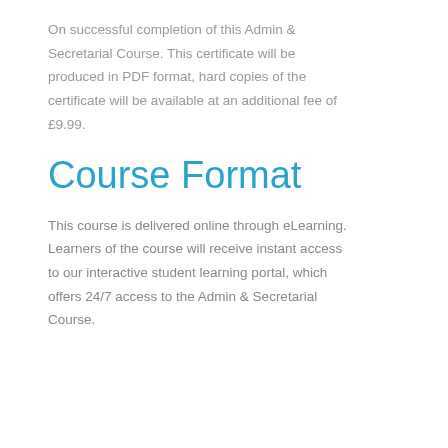On successful completion of this Admin & Secretarial Course. This certificate will be produced in PDF format, hard copies of the certificate will be available at an additional fee of £9.99.
Course Format
This course is delivered online through eLearning. Learners of the course will receive instant access to our interactive student learning portal, which offers 24/7 access to the Admin & Secretarial Course.